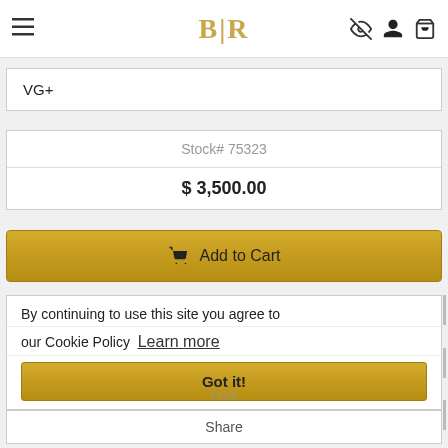BLR
VG+
| Stock# | Price |
| --- | --- |
| Stock# 75323 | $ 3,500.00 |
Add to Cart
By continuing to use this site you agree to our Cookie Policy Learn more
Got it!
Share